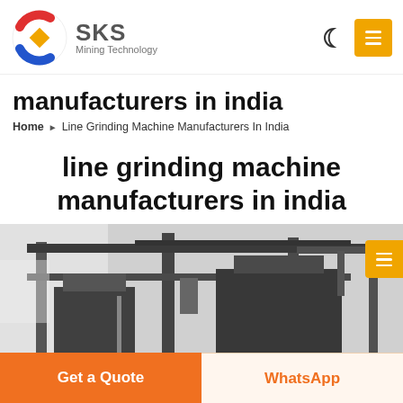[Figure (logo): SKS Mining Technology logo with circular red/blue/gold emblem and text 'SKS Mining Technology']
manufacturers in india
Home » Line Grinding Machine Manufacturers In India
line grinding machine manufacturers in india
[Figure (photo): Industrial photo of line grinding machine in a manufacturing facility, showing large metal machinery with overhead crane structure]
Get a Quote
WhatsApp